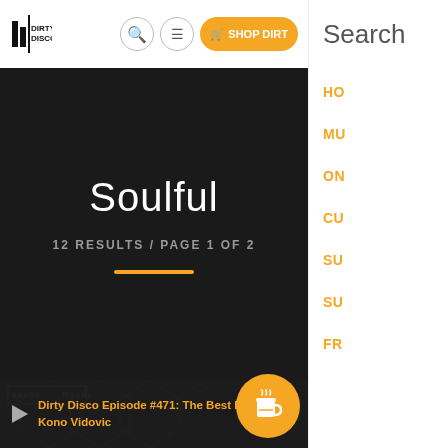Dirty Disco | Navigation bar with logo, search, menu, and SHOP DIRTY button
Search
HO
MU
ON
CU
SU
SU
FR
Soulful
12 RESULTS / PAGE 1 OF 2
[Figure (screenshot): Music thumbnail showing Saxon N Tape label, decorative geometric wallpaper background in gold/olive tones, partial head silhouette. View count: 37, Like count: 18.]
Dirty Disco Episode #471: The Best Electroni... Kono Vidovic